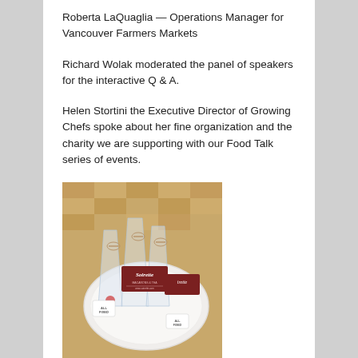Roberta LaQuaglia — Operations Manager for Vancouver Farmers Markets
Richard Wolak moderated the panel of speakers for the interactive Q & A.
Helen Stortini the Executive Director of Growing Chefs spoke about her fine organization and the charity we are supporting with our Food Talk series of events.
[Figure (photo): A plate with several cellophane-wrapped treats tied with twine, featuring dark red 'Soirette' branded tags. The items appear to be packaged confections or baked goods on a white plate, set on a wooden parquet floor background.]